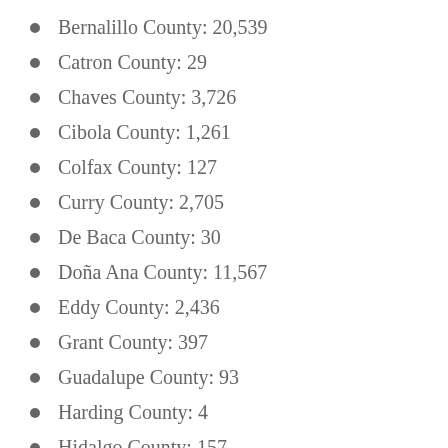Bernalillo County: 20,539
Catron County: 29
Chaves County: 3,726
Cibola County: 1,261
Colfax County: 127
Curry County: 2,705
De Baca County: 30
Doña Ana County: 11,567
Eddy County: 2,436
Grant County: 397
Guadalupe County: 93
Harding County: 4
Hidalgo County: 157
Lea County: 3,451
Lincoln County: 606
Los Alamos County: 106
Luna County: 1,694